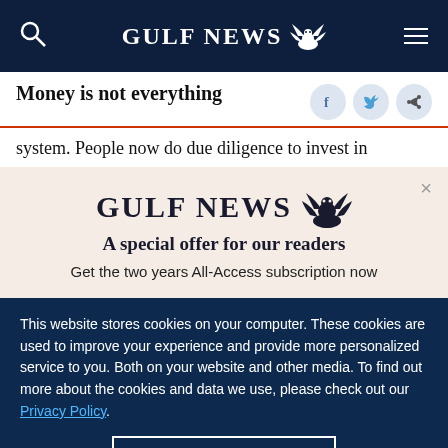GULF NEWS
Money is not everything
system. People now do due diligence to invest in
[Figure (logo): Gulf News logo with eagle emblem and text 'A special offer for our readers']
Get the two years All-Access subscription now
This website stores cookies on your computer. These cookies are used to improve your experience and provide more personalized service to you. Both on your website and other media. To find out more about the cookies and data we use, please check out our Privacy Policy.
OK